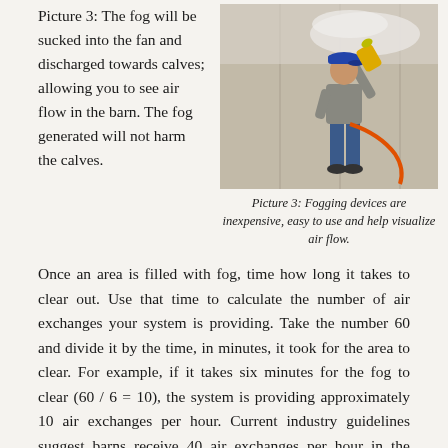Picture 3: The fog will be sucked into the fan and discharged towards calves; allowing you to see air flow in the barn. The fog generated will not harm the calves.
[Figure (photo): Person using a fogging device outdoors, pointing it upward toward a building wall. The person wears a blue cap, grey shirt, and jeans, and holds a yellow-tipped fogger connected to an orange hose.]
Picture 3:  Fogging devices are inexpensive, easy to use and help visualize air flow.
Once an area is filled with fog, time how long it takes to clear out. Use that time to calculate the number of air exchanges your system is providing. Take the number 60 and divide it by the time, in minutes, it took for the area to clear. For example, if it takes six minutes for the fog to clear (60 / 6 = 10), the system is providing approximately 10 air exchanges per hour. Current industry guidelines suggest barns receive 40 air exchanges per hour in the summer. However, this recommendation looks at ventilation on an entire barn level rather than at the calf